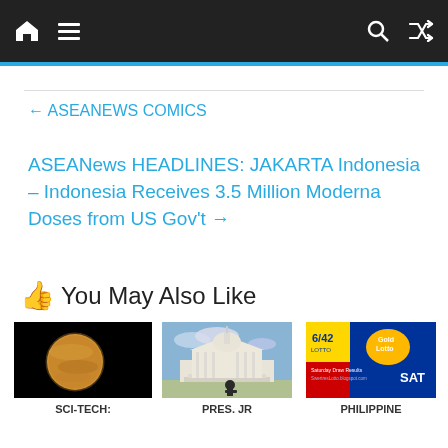Navigation bar with home, menu, search, and shuffle icons
← ASEANEWS COMICS
ASEANews HEADLINES: JAKARTA Indonesia – Indonesia Receives 3.5 Million Moderna Doses from US Gov't →
👍 You May Also Like
[Figure (photo): Planet (Venus) against black background]
[Figure (photo): US Capitol building with person walking in foreground]
[Figure (photo): Philippine lottery draw results image with 6/42 Lotto and Gold Lotto logos, SAT label]
SCI-TECH:
PRES. JR
PHILIPPINE